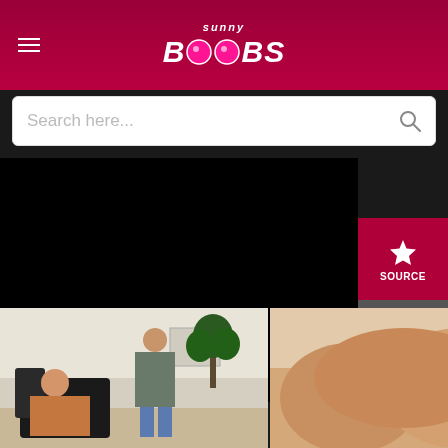sunny BOOBS - website header with logo
Search here...
[Figure (screenshot): Black video player area with side navigation buttons: SOURCE (star icon, pink/red), DATE (calendar icon, grey), DURATION (clock icon, grey), GOUP (up arrow icon, dark grey)]
[Figure (photo): Left thumbnail: two males in an office/living room setting, one seated in a chair, one standing]
[Figure (photo): Right thumbnail: close-up adult content image]